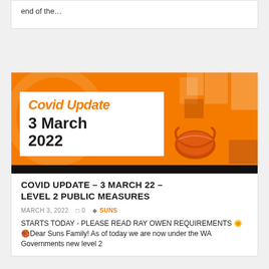end of the…
[Figure (illustration): Covid Update banner image with orange background, white box showing 'Covid Update' in orange bold italic text and '3 March 2022' in black bold text, orange face mask illustration on right, geometric orange shapes, black bar at bottom]
COVID UPDATE – 3 MARCH 22 – LEVEL 2 PUBLIC MEASURES
MARCH 3, 2022   0   SUNS
STARTS TODAY - PLEASE READ RAY OWEN REQUIREMENTS 🌟🏀Dear Suns Family! As of today we are now under the WA Governments new level 2